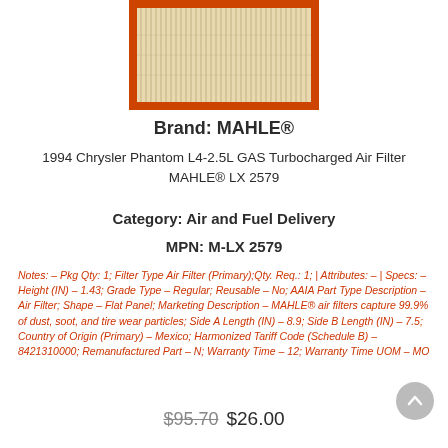[Figure (photo): Photograph of a MAHLE air filter with orange border frame — flat panel style, showing folded filter media]
Brand: MAHLE®
1994 Chrysler Phantom L4-2.5L GAS Turbocharged Air Filter MAHLE® LX 2579
Category: Air and Fuel Delivery
MPN: M-LX 2579
Notes: – Pkg Qty: 1; Filter Type Air Filter (Primary);Qty. Req.: 1; | Attributes: – | Specs: – Height (IN) – 1.43; Grade Type – Regular; Reusable – No; AAIA Part Type Description – Air Filter; Shape – Flat Panel; Marketing Description – MAHLE® air filters capture 99.9% of dust, soot, and tire wear particles; Side A Length (IN) – 8.9; Side B Length (IN) – 7.5; Country of Origin (Primary) – Mexico; Harmonized Tariff Code (Schedule B) – 8421310000; Remanufactured Part – N; Warranty Time – 12; Warranty Time UOM – MO
$95.70  $26.00